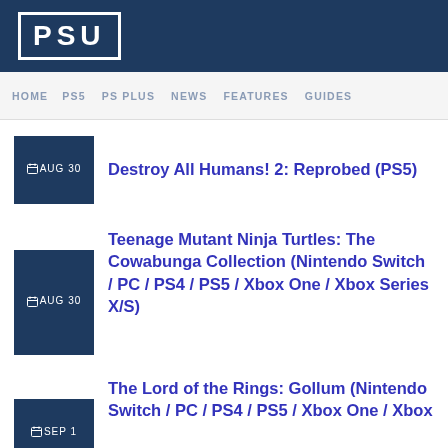PSU
HOME  PS5  PS PLUS  NEWS  FEATURES  GUIDES
AUG 30 — Destroy All Humans! 2: Reprobed (PS5)
AUG 30 — Teenage Mutant Ninja Turtles: The Cowabunga Collection (Nintendo Switch / PC / PS4 / PS5 / Xbox One / Xbox Series X/S)
SEP 1 — The Lord of the Rings: Gollum (Nintendo Switch / PC / PS4 / PS5 / Xbox One / Xbox